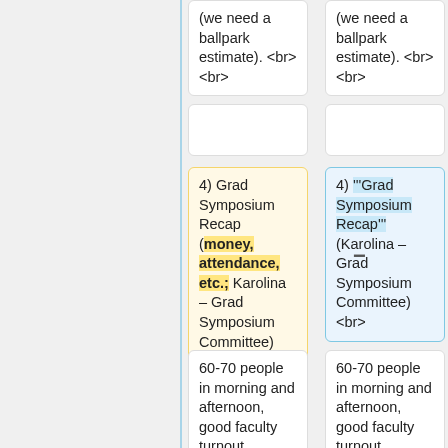(we need a ballpark estimate). <br> <br>
(we need a ballpark estimate). <br> <br>
4) Grad Symposium Recap (money, attendance, etc.; Karolina – Grad Symposium Committee) <br>
4) '''Grad Symposium Recap''' (Karolina – Grad Symposium Committee) <br>
60-70 people in morning and afternoon, good faculty turnout, everything budgeted for well<br><br>
60-70 people in morning and afternoon, good faculty turnout, everything budgeted for well<br><br>